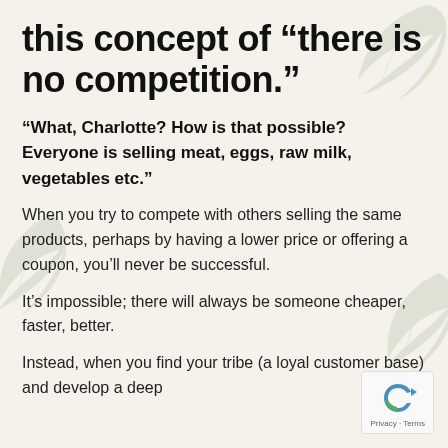this concept of “there is no competition.”
“What, Charlotte? How is that possible? Everyone is selling meat, eggs, raw milk, vegetables etc.”
When you try to compete with others selling the same products, perhaps by having a lower price or offering a coupon, you’ll never be successful.
It’s impossible; there will always be someone cheaper, faster, better.
Instead, when you find your tribe (a loyal customer base) and develop a deep